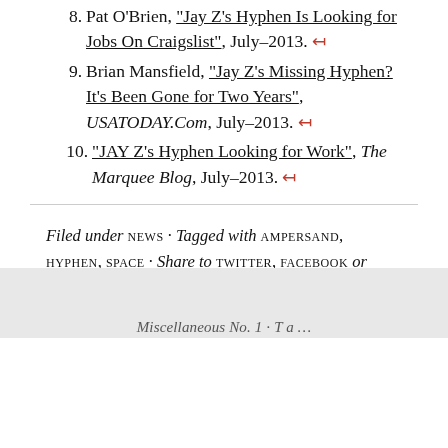8. Pat O'Brien, "Jay Z's Hyphen Is Looking for Jobs On Craigslist", July–2013. ↤
9. Brian Mansfield, "Jay Z's Missing Hyphen? It's Been Gone for Two Years", USATODAY.Com, July–2013. ↤
10. "JAY Z's Hyphen Looking for Work", The Marquee Blog, July–2013. ↤
Filed under NEWS · Tagged with AMPERSAND, HYPHEN, SPACE · Share to TWITTER, FACEBOOK or TUMBLR · 3 COMMENTS · Help support SHADY CHARACTERS